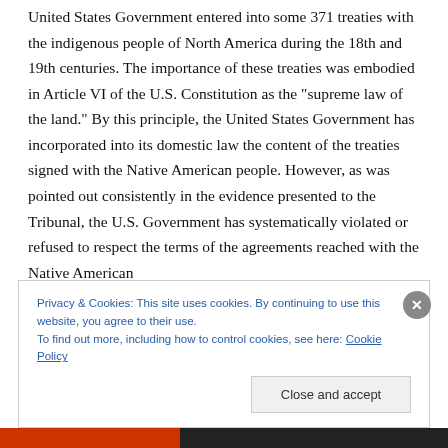United States Government entered into some 371 treaties with the indigenous people of North America during the 18th and 19th centuries. The importance of these treaties was embodied in Article VI of the U.S. Constitution as the “supreme law of the land.” By this principle, the United States Government has incorporated into its domestic law the content of the treaties signed with the Native American people. However, as was pointed out consistently in the evidence presented to the Tribunal, the U.S. Government has systematically violated or refused to respect the terms of the agreements reached with the Native American
Privacy & Cookies: This site uses cookies. By continuing to use this website, you agree to their use.
To find out more, including how to control cookies, see here: Cookie Policy
Close and accept